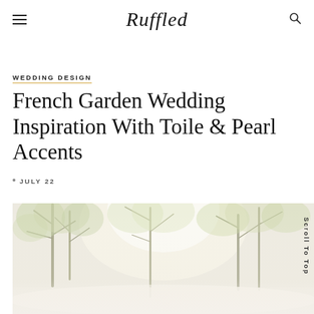Ruffled
WEDDING DESIGN
French Garden Wedding Inspiration With Toile & Pearl Accents
JULY 22
[Figure (photo): Soft, dreamy outdoor garden photo with trees and natural light, muted green and cream tones]
Scroll To Top